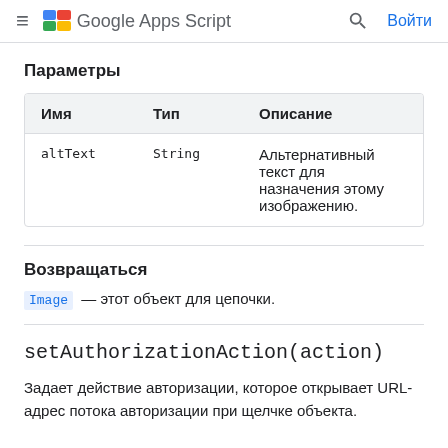Google Apps Script — Войти
Параметры
| Имя | Тип | Описание |
| --- | --- | --- |
| altText | String | Альтернативный текст для назначения этому изображению. |
Возвращаться
Image — этот объект для цепочки.
setAuthorizationAction(action)
Задает действие авторизации, которое открывает URL-адрес потока авторизации при щелчке объекта.